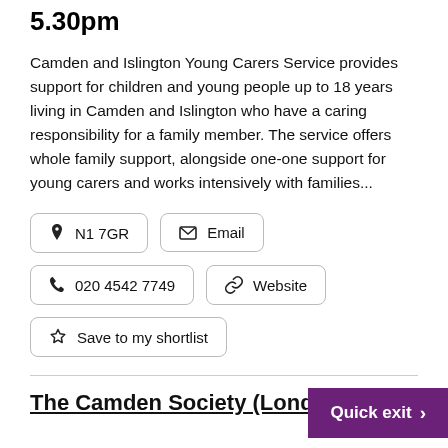5.30pm
Camden and Islington Young Carers Service provides support for children and young people up to 18 years living in Camden and Islington who have a caring responsibility for a family member. The service offers whole family support, alongside one-one support for young carers and works intensively with families...
N1 7GR
Email
020 4542 7749
Website
Save to my shortlist
The Camden Society (Lond